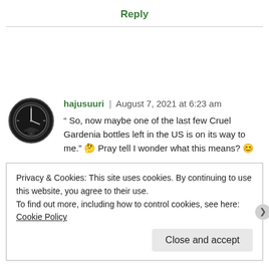Reply
hajusuuri | August 7, 2021 at 6:23 am
“ So, now maybe one of the last few Cruel Gardenia bottles left in the US is on its way to me.” 🤔 Pray tell I wonder what this means? 😊
Privacy & Cookies: This site uses cookies. By continuing to use this website, you agree to their use.
To find out more, including how to control cookies, see here: Cookie Policy
Close and accept